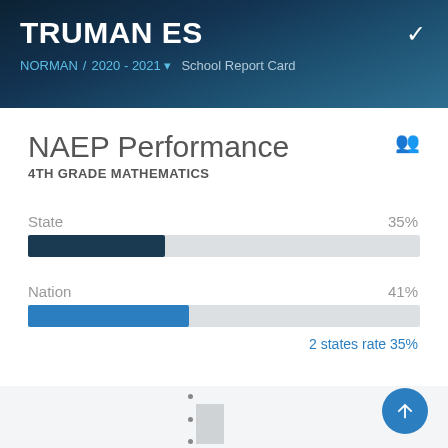TRUMAN ES
NORMAN / 2020 - 2021 ▾  School Report Card
NAEP Performance
4TH GRADE MATHEMATICS
[Figure (bar-chart): NAEP Performance – 4th Grade Mathematics]
2 states rate 35%